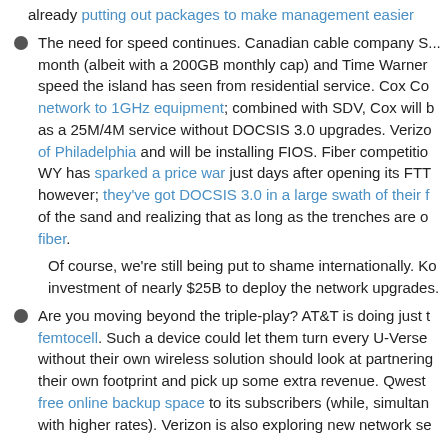already putting out packages to make management easier
The need for speed continues. Canadian cable company S... month (albeit with a 200GB monthly cap) and Time Warner... speed the island has seen from residential service. Cox Co... network to 1GHz equipment; combined with SDV, Cox will b... as a 25M/4M service without DOCSIS 3.0 upgrades. Verizo... of Philadelphia and will be installing FIOS. Fiber competitio... WY has sparked a price war just days after opening its FTT... however; they've got DOCSIS 3.0 in a large swath of their f... of the sand and realizing that as long as the trenches are o... fiber.
Of course, we're still being put to shame internationally. Ko... investment of nearly $25B to deploy the network upgrades.
Are you moving beyond the triple-play? AT&T is doing just t... femtocell. Such a device could let them turn every U-Verse... without their own wireless solution should look at partnering... their own footprint and pick up some extra revenue. Qwest... free online backup space to its subscribers (while, simultan... with higher rates). Verizon is also exploring new network se...